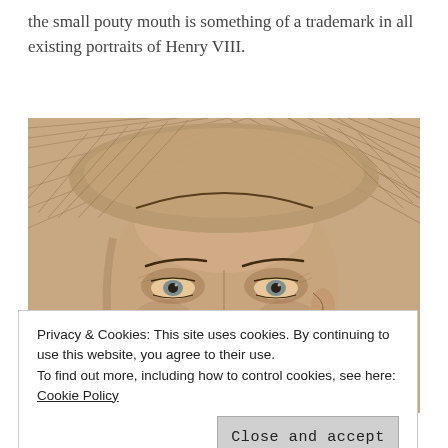the small pouty mouth is something of a trademark in all existing portraits of Henry VIII.
[Figure (illustration): A detailed pencil/chalk sketch portrait showing the face of Henry VIII in close-up, focusing on the eyes, heavy brow, and upper face. The drawing is on tan/brown paper with visible hatching marks around the face.]
Privacy & Cookies: This site uses cookies. By continuing to use this website, you agree to their use. To find out more, including how to control cookies, see here: Cookie Policy
Close and accept